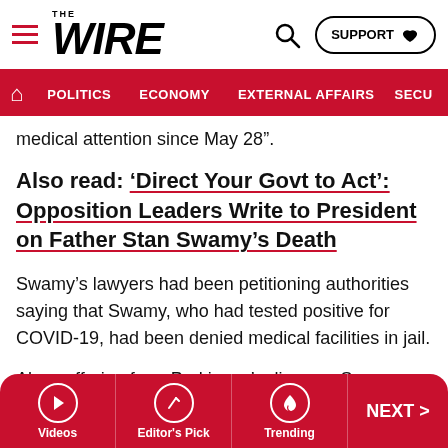THE WIRE — navigation bar with POLITICS, ECONOMY, EXTERNAL AFFAIRS, SECU...
medical attention since May 28”.
Also read: ‘Direct Your Govt to Act’: Opposition Leaders Write to President on Father Stan Swamy’s Death
Swamy’s lawyers had been petitioning authorities saying that Swamy, who had tested positive for COVID-19, had been denied medical facilities in jail.
Also suffering from Parkinson’s disease, Swamy had difficulty in sipping water from a glass, but he had been initially denied a sipper in prison and had to petition court over it.
Videos | Editor’s Pick | Trending | NEXT >